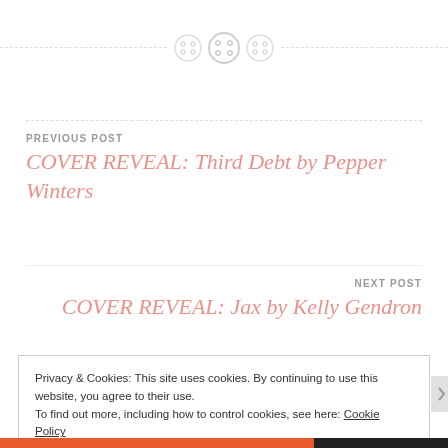[Figure (illustration): Decorative horizontal divider with three circular button-like icons in the center and dashed lines extending to both sides]
PREVIOUS POST
COVER REVEAL: Third Debt by Pepper Winters
NEXT POST
COVER REVEAL: Jax by Kelly Gendron
Privacy & Cookies: This site uses cookies. By continuing to use this website, you agree to their use.
To find out more, including how to control cookies, see here: Cookie Policy
Close and accept